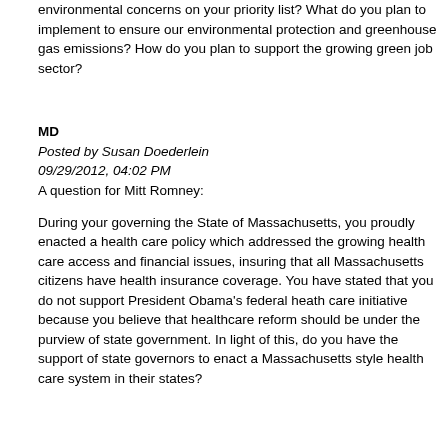environmental concerns on your priority list? What do you plan to implement to ensure our environmental protection and greenhouse gas emissions? How do you plan to support the growing green job sector?
MD
Posted by Susan Doederlein
09/29/2012, 04:02 PM
A question for Mitt Romney:
During your governing the State of Massachusetts, you proudly enacted a health care policy which addressed the growing health care access and financial issues, insuring that all Massachusetts citizens have health insurance coverage. You have stated that you do not support President Obama's federal heath care initiative because you believe that healthcare reform should be under the purview of state government. In light of this, do you have the support of state governors to enact a Massachusetts style health care system in their states?
Posted by Alan Baren
09/30/2012, 03:58 AM
My questions for the debates:
Alan Baren, Livingston, NJ
HEALTHCARE REFORM...